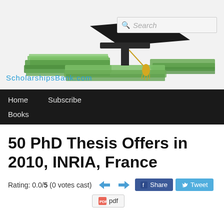[Figure (photo): Website header image showing a graduation cap on top of stacks of US dollar bills, with a yellow tassel. ScholarshipsBank.com site header.]
ScholarshipsBank.com
Home   Subscribe   Books
50 PhD Thesis Offers in 2010, INRIA, France
Rating: 0.0/5 (0 votes cast)